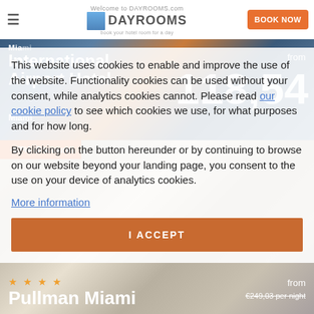Welcome to DAYROOMS.com | BOOK NOW
[Figure (screenshot): Miami International Airport Hotel listing with orange/blue gradient background, price shown as 118,54]
-57% discount
This website uses cookies to enable and improve the use of the website. Functionality cookies can be used without your consent, while analytics cookies cannot. Please read our cookie policy to see which cookies we use, for what purposes and for how long.
By clicking on the button hereunder or by continuing to browse on our website beyond your landing page, you consent to the use on your device of analytics cookies.
More information
I ACCEPT
[Figure (screenshot): Pullman Miami hotel room interior with beige tones, from €249,03 per night]